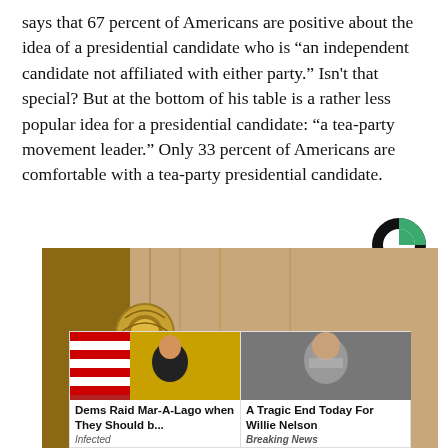says that 67 percent of Americans are positive about the idea of a presidential candidate who is “an independent candidate not affiliated with either party.” Isn't that special? But at the bottom of his table is a rather less popular idea for a presidential candidate: “a tea-party movement leader.” Only 33 percent of Americans are comfortable with a tea-party presidential candidate.
[Figure (logo): Circular logo — dark green quarter circle top-right, black remainder, white cutout inner circle]
[Figure (photo): Close-up photo of a golden/bronze decorative door handle or sculpture against a wooden door and wall background. Over the photo is an advertisement overlay showing two ad cards: left card shows 'Dems Raid Mar-A-Lago when They Should b...' sourced from 'Infected', right card shows 'A Tragic End Today For Willie Nelson' sourced from 'Breaking News' with a close X button.]